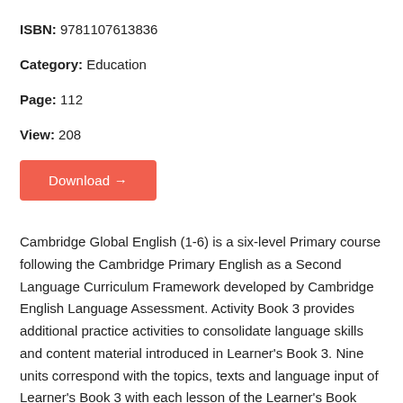ISBN: 9781107613836
Category: Education
Page: 112
View: 208
Download →
Cambridge Global English (1-6) is a six-level Primary course following the Cambridge Primary English as a Second Language Curriculum Framework developed by Cambridge English Language Assessment. Activity Book 3 provides additional practice activities to consolidate language skills and content material introduced in Learner's Book 3. Nine units correspond with the topics, texts and language input of Learner's Book 3 with each lesson of the Learner's Book